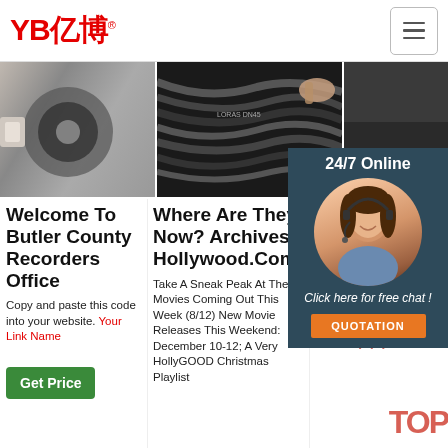[Figure (logo): YB亿博 company logo in red with registered trademark symbol]
[Figure (photo): Three product/website screenshot images: hose fittings, cable/wire wheel, dark background]
[Figure (infographic): 24/7 Online chat widget with female customer service avatar, 'Click here for free chat!' and QUOTATION button]
Welcome To Butler County Recorders Office
Copy and paste this code into your website. Your Link Name
Get Price
Where Are They Now? Archives - Hollywood.Com&
Take A Sneak Peak At The Movies Coming Out This Week (8/12) New Movie Releases This Weekend: December 10-12; A Very HollyGOOD Christmas Playlist
(PI RE FO
SAP REC FOR DRILLING & WORKOVER RIGS. Mosa Fahmi. Download Download PDF. Full PDF Package Download Full PDF